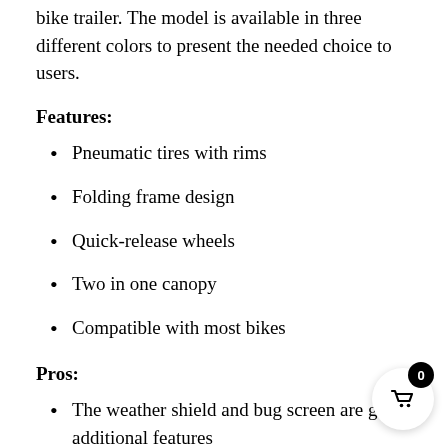bike trailer. The model is available in three different colors to present the needed choice to users.
Features:
Pneumatic tires with rims
Folding frame design
Quick-release wheels
Two in one canopy
Compatible with most bikes
Pros:
The weather shield and bug screen are great additional features